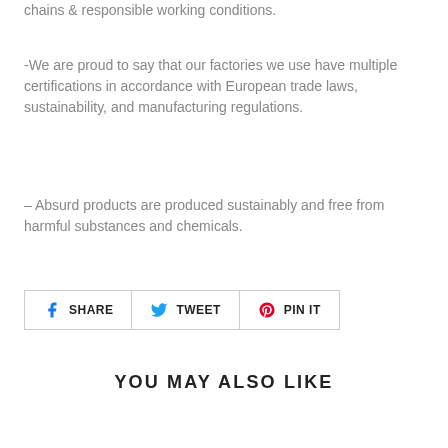chains & responsible working conditions.
-We are proud to say that our factories we use have multiple certifications in accordance with European trade laws, sustainability, and manufacturing regulations.
– Absurd products are produced sustainably and free from harmful substances and chemicals.
SHARE   TWEET   PIN IT
YOU MAY ALSO LIKE